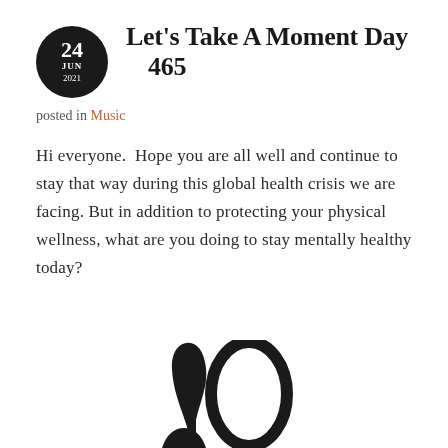Let's Take A Moment Day 465
posted in Music
Hi everyone. Hope you are all well and continue to stay that way during this global health crisis we are facing. But in addition to protecting your physical wellness, what are you doing to stay mentally healthy today?
[Figure (illustration): Partial view of a decorative musical or logo illustration in black at the bottom center of the page]